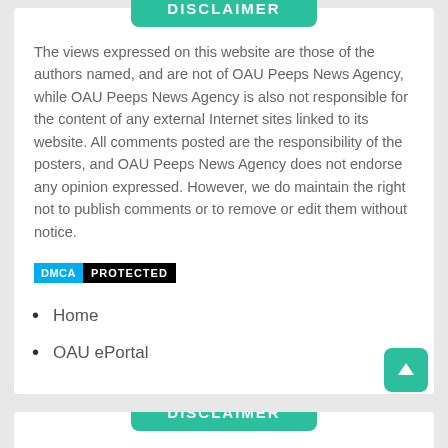DISCLAIMER
The views expressed on this website are those of the authors named, and are not of OAU Peeps News Agency, while OAU Peeps News Agency is also not responsible for the content of any external Internet sites linked to its website. All comments posted are the responsibility of the posters, and OAU Peeps News Agency does not endorse any opinion expressed. However, we do maintain the right not to publish comments or to remove or edit them without notice.
[Figure (logo): DMCA Protected badge with cyan DMCA label and black PROTECTED label]
Home
OAU ePortal
DISCLAIMER